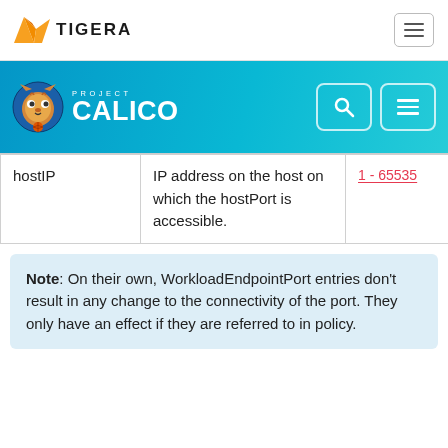TIGERA
[Figure (logo): Project Calico banner with logo and navigation buttons]
| hostIP | IP address on the host on which the hostPort is accessible. | 1 - 65535 | int |
Note: On their own, WorkloadEndpointPort entries don't result in any change to the connectivity of the port. They only have an effect if they are referred to in policy.